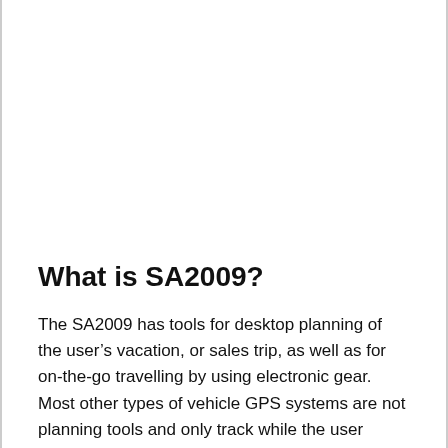What is SA2009?
The SA2009 has tools for desktop planning of the user’s vacation, or sales trip, as well as for on-the-go travelling by using electronic gear. Most other types of vehicle GPS systems are not planning tools and only track while the user